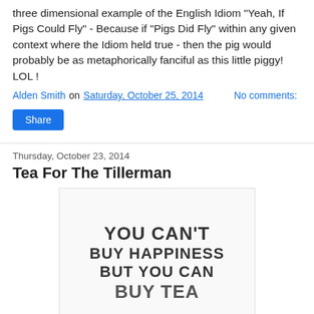three dimensional example of the English Idiom "Yeah, If Pigs Could Fly" - Because if "Pigs Did Fly" within any given context where the Idiom held true - then the pig would probably be as metaphorically fanciful as this little piggy! LOL !
Alden Smith on Saturday, October 25, 2014   No comments:
Share
Thursday, October 23, 2014
Tea For The Tillerman
[Figure (photo): Image with text: YOU CAN'T BUY HAPPINESS BUT YOU CAN BUY TEA]